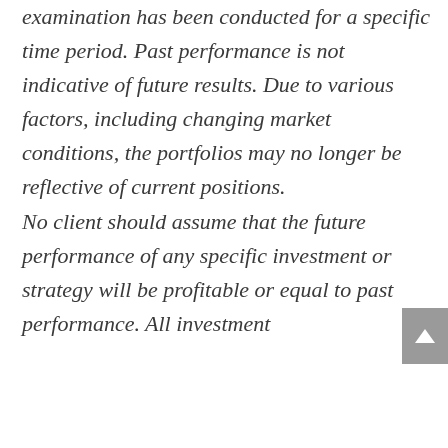examination has been conducted for a specific time period. Past performance is not indicative of future results. Due to various factors, including changing market conditions, the portfolios may no longer be reflective of current positions. No client should assume that the future performance of any specific investment or strategy will be profitable or equal to past performance. All investment